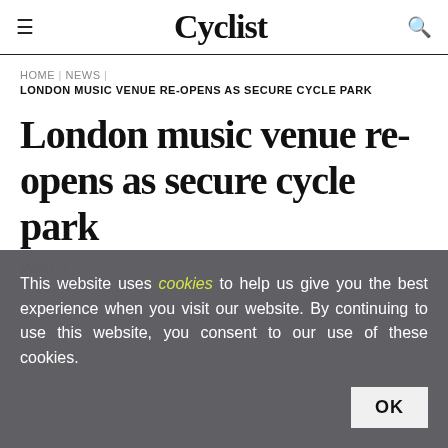Cyclist
HOME | NEWS | LONDON MUSIC VENUE RE-OPENS AS SECURE CYCLE PARK
London music venue re-opens as secure cycle park
This website uses cookies to help us give you the best experience when you visit our website. By continuing to use this website, you consent to our use of these cookies.